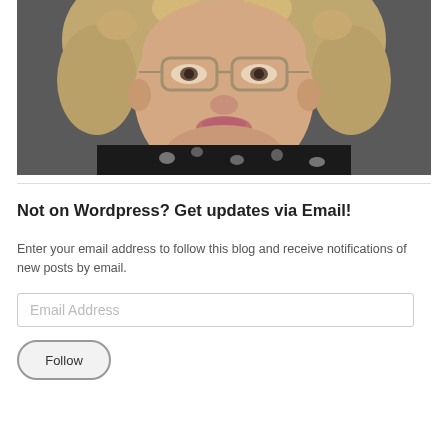[Figure (photo): Close-up photo of an older woman with curly blonde hair, glasses, wearing a black and white patterned top, looking at the camera]
Not on Wordpress? Get updates via Email!
Enter your email address to follow this blog and receive notifications of new posts by email.
Email Address
Follow